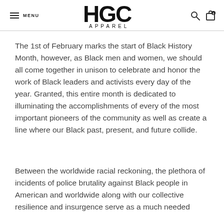HGC APPAREL — MENU
The 1st of February marks the start of Black History Month, however, as Black men and women, we should all come together in unison to celebrate and honor the work of Black leaders and activists every day of the year. Granted, this entire month is dedicated to illuminating the accomplishments of every of the most important pioneers of the community as well as create a line where our Black past, present, and future collide.
Between the worldwide racial reckoning, the plethora of incidents of police brutality against Black people in American and worldwide along with our collective resilience and insurgence serve as a much needed